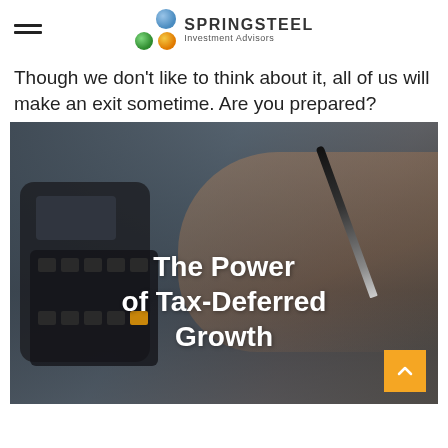SPRINGSTEEL Investment Advisors
Though we don't like to think about it, all of us will make an exit sometime. Are you prepared?
[Figure (photo): Close-up photo of a person's hand using a calculator with a pen, with overlay text reading 'The Power of Tax-Deferred Growth'. An orange scroll-to-top button appears in the bottom-right corner.]